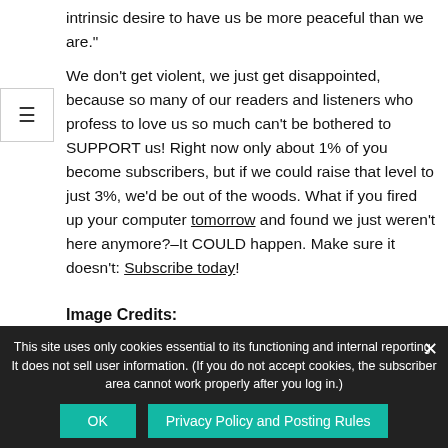intrinsic desire to have us be more peaceful than we are."
We don’t get violent, we just get disappointed, because so many of our readers and listeners who profess to love us so much can’t be bothered to SUPPORT us! Right now only about 1% of you become subscribers, but if we could raise that level to just 3%, we’d be out of the woods. What if you fired up your computer tomorrow and found we just weren’t here anymore?–It COULD happen. Make sure it doesn’t: Subscribe today!
Image Credits:
This site uses only cookies essential to its functioning and internal reporting. It does not sell user information. (If you do not accept cookies, the subscriber area cannot work properly after you log in.)